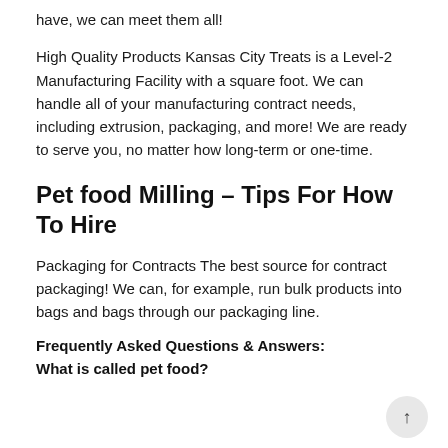have, we can meet them all!
High Quality Products Kansas City Treats is a Level-2 Manufacturing Facility with a square foot. We can handle all of your manufacturing contract needs, including extrusion, packaging, and more! We are ready to serve you, no matter how long-term or one-time.
Pet food Milling – Tips For How To Hire
Packaging for Contracts The best source for contract packaging! We can, for example, run bulk products into bags and bags through our packaging line.
Frequently Asked Questions & Answers:
What is called pet food?